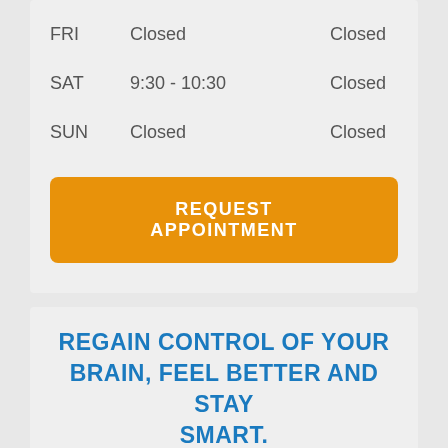| Day | Time | Status |
| --- | --- | --- |
| FRI | Closed | Closed |
| SAT | 9:30 - 10:30 | Closed |
| SUN | Closed | Closed |
REQUEST APPOINTMENT
REGAIN CONTROL OF YOUR BRAIN, FEEL BETTER AND STAY SMART.
Get our FREE ebook about Digital Dementia, a condition affecting today's over extended